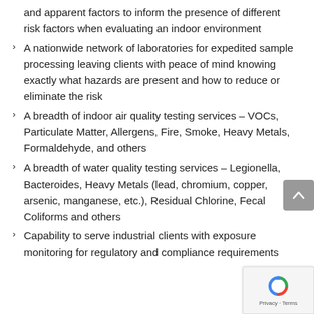and apparent factors to inform the presence of different risk factors when evaluating an indoor environment
A nationwide network of laboratories for expedited sample processing leaving clients with peace of mind knowing exactly what hazards are present and how to reduce or eliminate the risk
A breadth of indoor air quality testing services – VOCs, Particulate Matter, Allergens, Fire, Smoke, Heavy Metals, Formaldehyde, and others
A breadth of water quality testing services – Legionella, Bacteroides, Heavy Metals (lead, chromium, copper, arsenic, manganese, etc.), Residual Chlorine, Fecal Coliforms and others
Capability to serve industrial clients with exposure monitoring for regulatory and compliance requirements